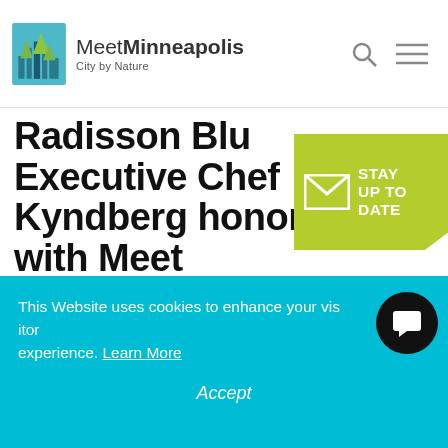Meet Minneapolis – City by Nature
Radisson Blu Executive Chef Kyndberg honored with Meet Minneapolis Hospitality Hero
[Figure (infographic): Green banner with envelope icon and text: STAY UP TO DATE]
This Website uses cookies to enhance your visitor experience. Learn More
Accept